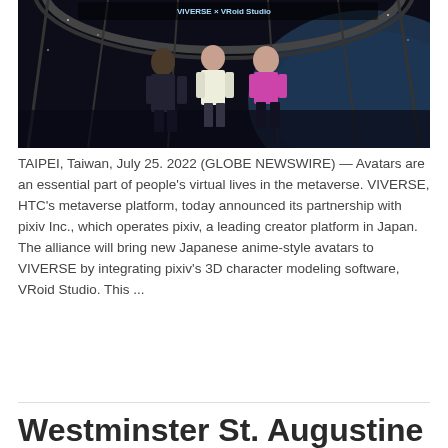[Figure (illustration): Dark sci-fi interior scene with three anime-style avatars standing in front of large windows showing Earth from space. A banner at the top reads 'VIVERSE × VRoid Studio'.]
TAIPEI, Taiwan, July 25. 2022 (GLOBE NEWSWIRE) — Avatars are an essential part of people's virtual lives in the metaverse. VIVERSE, HTC's metaverse platform, today announced its partnership with pixiv Inc., which operates pixiv, a leading creator platform in Japan. The alliance will bring new Japanese anime-style avatars to VIVERSE by integrating pixiv's 3D character modeling software, VRoid Studio. This ...
Read More »
Westminster St. Augustine